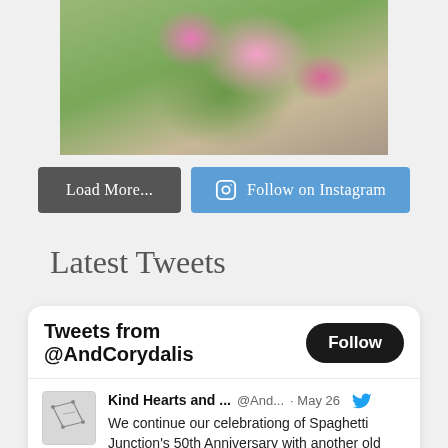[Figure (photo): Close-up photograph of pink flowers with green leaves background]
Load More...
Follow on Instagram
Latest Tweets
Tweets from @AndCorydalis
Kind Hearts and ...  @And...  · May 26
We continue our celebrationg of Spaghetti Junction's 50th Anniversary with another old post from back in 2017.
kindheartsandcorydalis.co.uk/sallows-salfor…